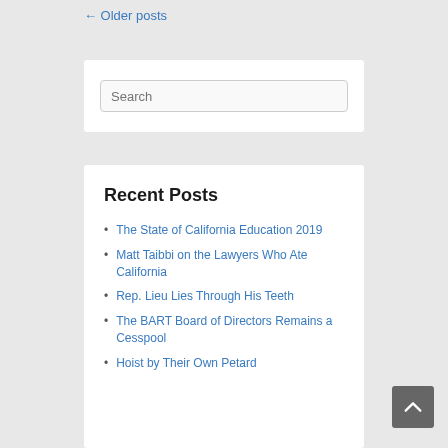← Older posts
Search
Recent Posts
The State of California Education 2019
Matt Taibbi on the Lawyers Who Ate California
Rep. Lieu Lies Through His Teeth
The BART Board of Directors Remains a Cesspool
Hoist by Their Own Petard